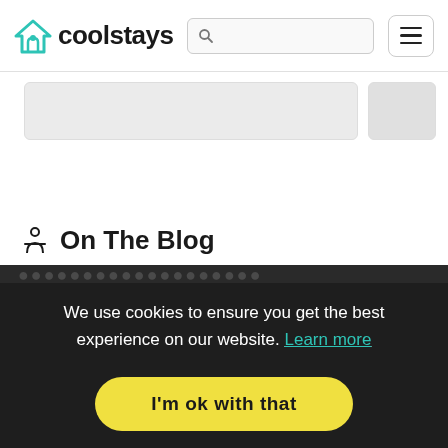coolstays
On The Blog
We use cookies to ensure you get the best experience on our website. Learn more
I'm ok with that